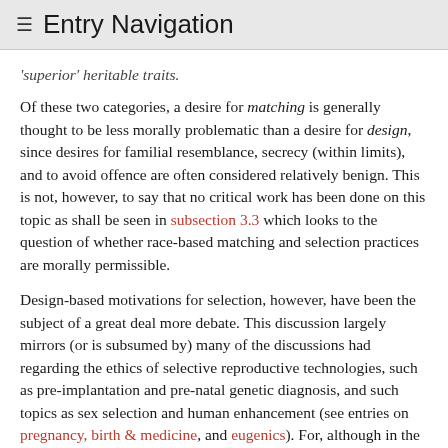≡  Entry Navigation
'superior' heritable traits.
Of these two categories, a desire for matching is generally thought to be less morally problematic than a desire for design, since desires for familial resemblance, secrecy (within limits), and to avoid offence are often considered relatively benign. This is not, however, to say that no critical work has been done on this topic as shall be seen in subsection 3.3 which looks to the question of whether race-based matching and selection practices are morally permissible.
Design-based motivations for selection, however, have been the subject of a great deal more debate. This discussion largely mirrors (or is subsumed by) many of the discussions had regarding the ethics of selective reproductive technologies, such as pre-implantation and pre-natal genetic diagnosis, and such topics as sex selection and human enhancement (see entries on pregnancy, birth & medicine, and eugenics). For, although in the context of gamete donor selection there are no